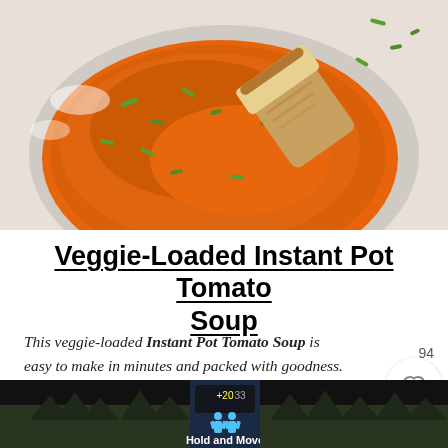[Figure (photo): Overhead view of a bowl of tomato soup garnished with chopped green onions, with a piece of bread dipped in the soup. Light background.]
Veggie-Loaded Instant Pot Tomato Soup
This veggie-loaded Instant Pot Tomato Soup is easy to make in minutes and packed with goodness. Kid-friendly and can easily be made dairy-free or vegan, this is the perfect healthy soup to make fo…
[Figure (screenshot): Advertisement bar at the bottom showing a dark background with text 'Hold and Move' and two human figure icons, along with trees in background. Has a close button (X) and help button (?).]